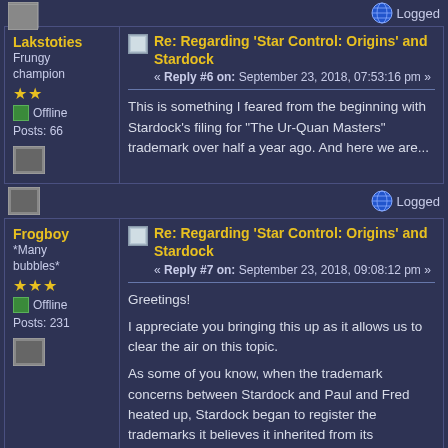Logged
Re: Regarding 'Star Control: Origins' and Stardock
« Reply #6 on: September 23, 2018, 07:53:16 pm »
Lakstoties
Frungy champion
Offline
Posts: 66
This is something I feared from the beginning with Stardock's filing for "The Ur-Quan Masters" trademark over half a year ago.  And here we are...
Logged
Re: Regarding 'Star Control: Origins' and Stardock
« Reply #7 on: September 23, 2018, 09:08:12 pm »
Frogboy
*Many bubbles*
Offline
Posts: 231
Greetings!
I appreciate you bringing this up as it allows us to clear the air on this topic.
As some of you know, when the trademark concerns between Stardock and Paul and Fred heated up, Stardock began to register the trademarks it believes it inherited from its Accolade/Atari acquisition.  One of these trademarks is the sub-title to Star Control II (The Ur-Quan Masters).
After this occurred, a number of UQM community members urged us to send Serge a license agreement for the trademarks (as you can read in the comments here over